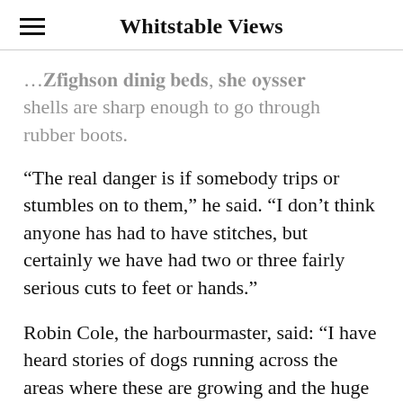Whitstable Views
…Brighton dining beds, the oyster shells are sharp enough to go through rubber boots.
“The real danger is if somebody trips or stumbles on to them,” he said. “I don’t think anyone has had to have stitches, but certainly we have had two or three fairly serious cuts to feet or hands.”
Robin Cole, the harbourmaster, said: “I have heard stories of dogs running across the areas where these are growing and the huge vet bills which followed because the